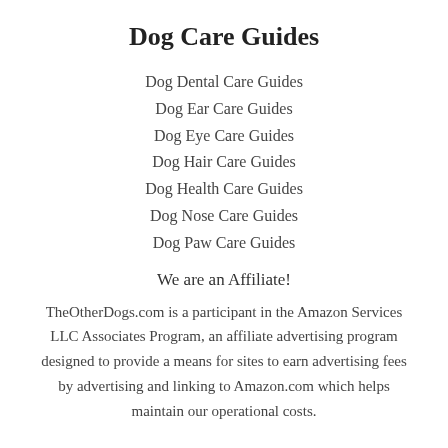Dog Care Guides
Dog Dental Care Guides
Dog Ear Care Guides
Dog Eye Care Guides
Dog Hair Care Guides
Dog Health Care Guides
Dog Nose Care Guides
Dog Paw Care Guides
We are an Affiliate!
TheOtherDogs.com is a participant in the Amazon Services LLC Associates Program, an affiliate advertising program designed to provide a means for sites to earn advertising fees by advertising and linking to Amazon.com which helps maintain our operational costs.